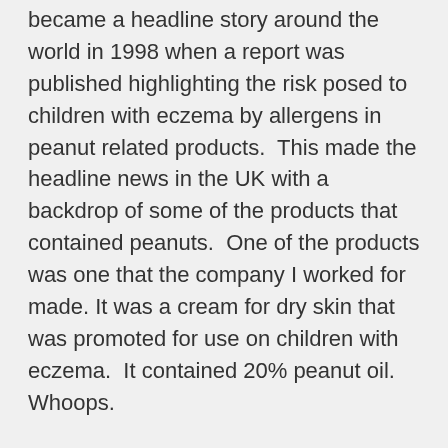became a headline story around the world in 1998 when a report was published highlighting the risk posed to children with eczema by allergens in peanut related products.  This made the headline news in the UK with a backdrop of some of the products that contained peanuts.  One of the products was one that the company I worked for made. It was a cream for dry skin that was promoted for use on children with eczema.  It contained 20% peanut oil.  Whoops.
Interestingly the product had been on the market for twenty years and had attracted very few complaints from users about skin reactions of any kind.  In fact a very low level considering the target market, because if anyone is going to get a skin reaction it is a child with eczema.  This was rather at odds with the story about peanuts being such potent allergens. But nonetheless we switched from peanut oil to mineral oil.  This had no effect on the